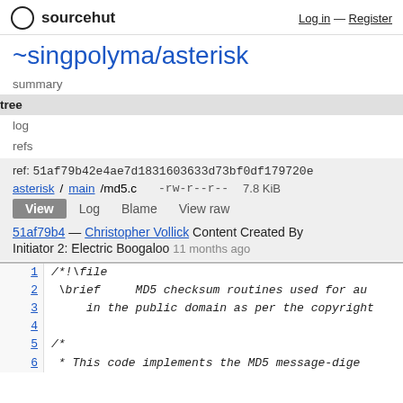sourcehut   Log in — Register
~singpolyma/asterisk
summary
tree
log
refs
ref: 51af79b42e4ae7d1831603633d73bf0df179720e
asterisk/main/md5.c   -rw-r--r--   7.8 KiB
View  Log  Blame  View raw
51af79b4 — Christopher Vollick Content Created By Initiator 2: Electric Boogaloo  11 months ago
1  /*!\file
2  \brief     MD5 checksum routines used for au
3       in the public domain as per the copyright
4
5  /*
6   * This code implements the MD5 message-dige